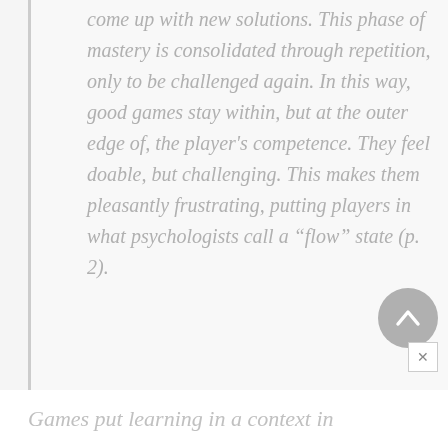come up with new solutions. This phase of mastery is consolidated through repetition, only to be challenged again. In this way, good games stay within, but at the outer edge of, the player's competence. They feel doable, but challenging. This makes them pleasantly frustrating, putting players in what psychologists call a “flow” state (p. 2).
Games put learning in a context in